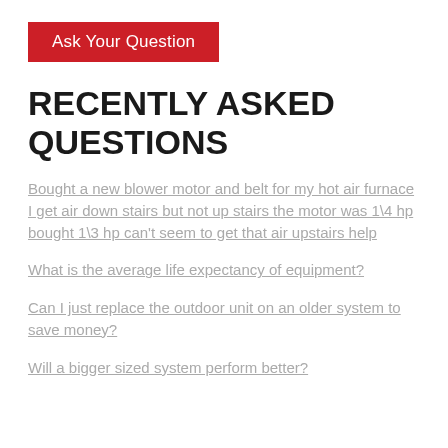Ask Your Question
RECENTLY ASKED QUESTIONS
Bought a new blower motor and belt for my hot air furnace I get air down stairs but not up stairs the motor was 1\4 hp bought 1\3 hp can't seem to get that air upstairs help
What is the average life expectancy of equipment?
Can I just replace the outdoor unit on an older system to save money?
Will a bigger sized system perform better?